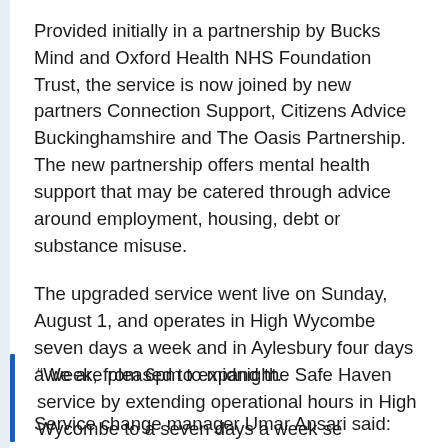Provided initially in a partnership by Bucks Mind and Oxford Health NHS Foundation Trust, the service is now joined by new partners Connection Support, Citizens Advice Buckinghamshire and The Oasis Partnership. The new partnership offers mental health support that may be catered through advice around employment, housing, debt or substance misuse.
The upgraded service went live on Sunday, August 1, and operates in High Wycombe seven days a week and in Aylesbury four days a week, from 6pm to midnight.
Service change manager Umar Ansari said:
“We are pleased to expand the Safe Haven service by extending operational hours in High Wycombe to a seven days a week se...